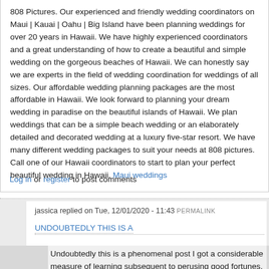808 Pictures. Our experienced and friendly wedding coordinators on Maui | Kauai | Oahu | Big Island have been planning weddings for over 20 years in Hawaii. We have highly experienced coordinators and a great understanding of how to create a beautiful and simple wedding on the gorgeous beaches of Hawaii. We can honestly say we are experts in the field of wedding coordination for weddings of all sizes. Our affordable wedding planning packages are the most affordable in Hawaii. We look forward to planning your dream wedding in paradise on the beautiful islands of Hawaii. We plan weddings that can be a simple beach wedding or an elaborately detailed and decorated wedding at a luxury five-star resort. We have many different wedding packages to suit your needs at 808 pictures. Call one of our Hawaii coordinators to start to plan your perfect beautiful wedding in Hawaii. Maui weddings
Log in or register to post comments
jassica replied on Tue, 12/01/2020 - 11:43 PERMALINK
UNDOUBTEDLY THIS IS A
Undoubtedly this is a phenomenal post I got a considerable measure of learning subsequent to perusing good fortunes. Subject of online journal is astounding there is just about everything to